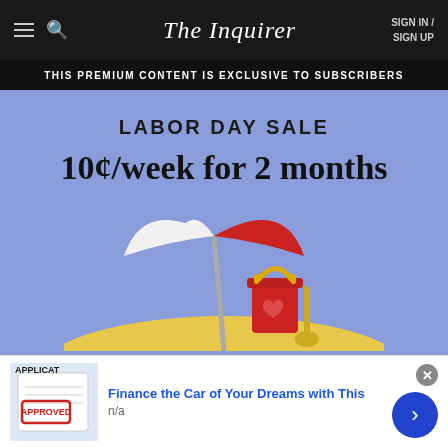The Inquirer — SIGN IN / SIGN UP
THIS PREMIUM CONTENT IS EXCLUSIVE TO SUBSCRIBERS
LABOR DAY SALE
10¢/week for 2 months
[Figure (illustration): Beach scene with red and white umbrella, red bucket, and yellow sand]
Finance the Car of Your Dreams with This
n/a